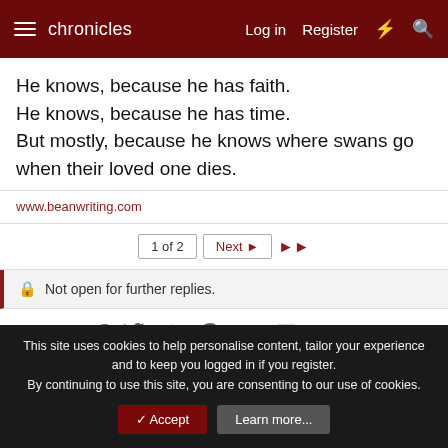chronicles   Log in   Register
He knows, because he has faith.
He knows, because he has time.
But mostly, because he knows where swans go when their loved one dies.
www.beanwriting.com
1 of 2   Next ▶   ▶▶
🔒 Not open for further replies.
Share: (social icons)
This site uses cookies to help personalise content, tailor your experience and to keep you logged in if you register.
By continuing to use this site, you are consenting to our use of cookies.